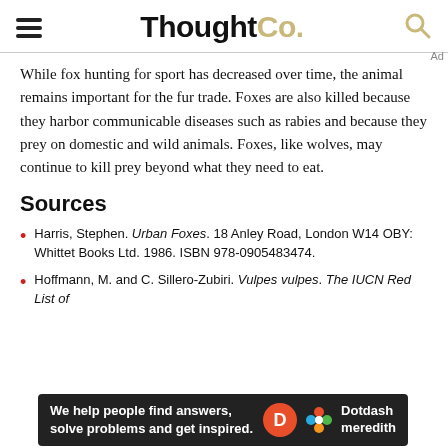ThoughtCo.
While fox hunting for sport has decreased over time, the animal remains important for the fur trade. Foxes are also killed because they harbor communicable diseases such as rabies and because they prey on domestic and wild animals. Foxes, like wolves, may continue to kill prey beyond what they need to eat.
Sources
Harris, Stephen. Urban Foxes. 18 Anley Road, London W14 OBY: Whittet Books Ltd. 1986. ISBN 978-0905483474.
Hoffmann, M. and C. Sillero-Zubiri. Vulpes vulpes. The IUCN Red List of
[Figure (infographic): Dark advertisement bar: 'We help people find answers, solve problems and get inspired.' with Dotdash Meredith logo and D circle icon.]